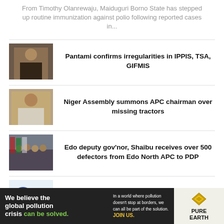From Timothy Olanrewaju, Maiduguri Borno State has stepped up routine immunization against polio following reported cases in...
[Figure (photo): Thumbnail photo of a man in traditional attire seated at a desk]
Pantami confirms irregularities in IPPIS, TSA, GIFMIS
[Figure (photo): Thumbnail photo of a man in white attire]
Niger Assembly summons APC chairman over missing tractors
[Figure (photo): Thumbnail photo of a group of people with flags]
Edo deputy gov'nor, Shaibu receives over 500 defectors from Edo North APC to PDP
[Figure (logo): NDDC logo]
NDDC opens portal for scholarship programme
[Figure (infographic): Pure Earth advertisement banner: We believe the global pollution crisis can be solved. In a world where pollution doesn't stop at borders, we can all be part of the solution. JOIN US. PURE EARTH logo.]